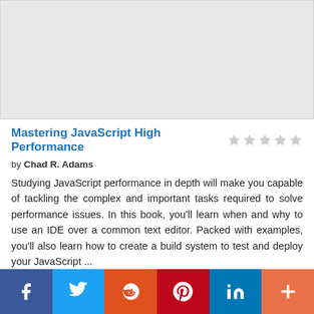[Figure (other): Gray placeholder rectangle for book cover image]
Mastering JavaScript High Performance
by Chad R. Adams
Studying JavaScript performance in depth will make you capable of tackling the complex and important tasks required to solve performance issues. In this book, you'll learn when and why to use an IDE over a common text editor. Packed with examples, you'll also learn how to create a build system to test and deploy your JavaScript ...
[Figure (infographic): Social media sharing bar with Facebook, Twitter, Reddit, Pinterest, LinkedIn, and More buttons]